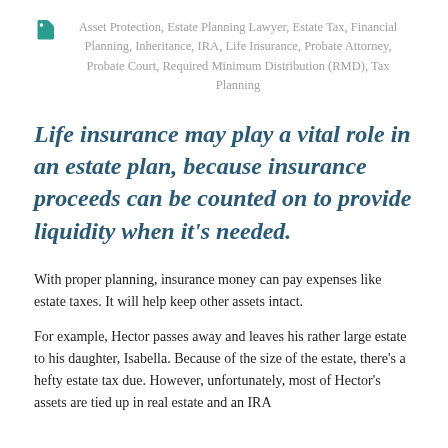Asset Protection, Estate Planning Lawyer, Estate Tax, Financial Planning, Inheritance, IRA, Life Insurance, Probate Attorney, Probate Court, Required Minimum Distribution (RMD), Tax Planning
Life insurance may play a vital role in an estate plan, because insurance proceeds can be counted on to provide liquidity when it's needed.
With proper planning, insurance money can pay expenses like estate taxes. It will help keep other assets intact.
For example, Hector passes away and leaves his rather large estate to his daughter, Isabella. Because of the size of the estate, there's a hefty estate tax due. However, unfortunately, most of Hector's assets are tied up in real estate and an IRA